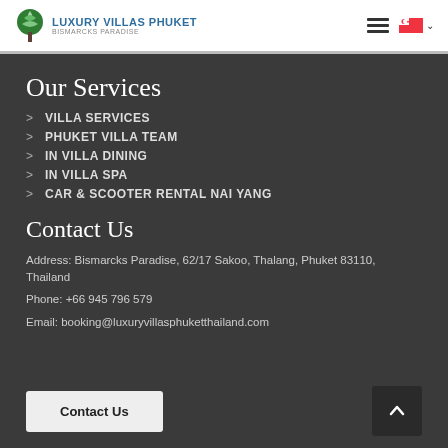Luxury Villas Phuket - Bismarcks Paradise
Our Services
VILLA SERVICES
PHUKET VILLA TEAM
IN VILLA DINING
IN VILLA SPA
CAR & SCOOTER RENTAL NAI YANG
Contact Us
Address: Bismarcks Paradise, 62/17 Sakoo, Thalang, Phuket 83110, Thailand
Phone: +66 945 796 579
Email: booking@luxuryvillasphuketthailand.com
Contact Us